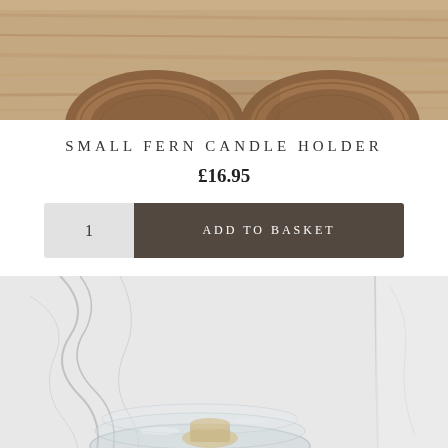[Figure (photo): Close-up of wooden candle holders on a wooden surface — cropped top showing two round wooden bases side by side]
SMALL FERN CANDLE HOLDER
£16.95
[Figure (infographic): Add to basket UI with quantity selector showing '1' and a dark brown 'ADD TO BASKET' button]
[Figure (photo): Photo of a glass dish/candle holder placed on a white marble surface with grey veining]